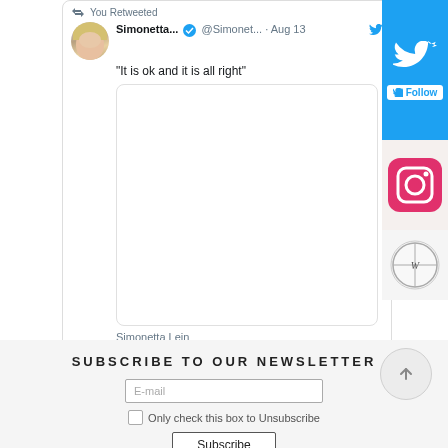You Retweeted
Simonetta... @Simonet... · Aug 13
"It is ok and it is all right"
[Figure (photo): Embedded image placeholder in tweet (white rounded rectangle)]
Simonetta Lein
[Figure (logo): Twitter follow button widget (blue bird icon with Follow label)]
[Figure (logo): Instagram icon]
[Figure (logo): Wikipedia globe icon]
SUBSCRIBE TO OUR NEWSLETTER
E-mail
Only check this box to Unsubscribe
Subscribe